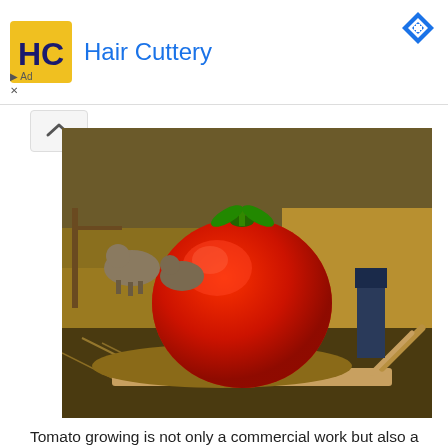[Figure (logo): Hair Cuttery advertisement banner with yellow/orange HC logo and blue title text 'Hair Cuttery']
[Figure (photo): A giant red tomato being transported on a wooden cart/sled through a dry grassy field, with sheep visible in the background and a person partially visible]
Tomato growing is not only a commercial work but also a good hobby for all people. It’s easy to grow a pot of tomatoes in balcony or home. But there are some important things while growing a tomato because it has some fragile period while growing.
Root injury is one of the main problems while growing tomatoes. Tomato seeds must keep in a small box and directly left into soil.